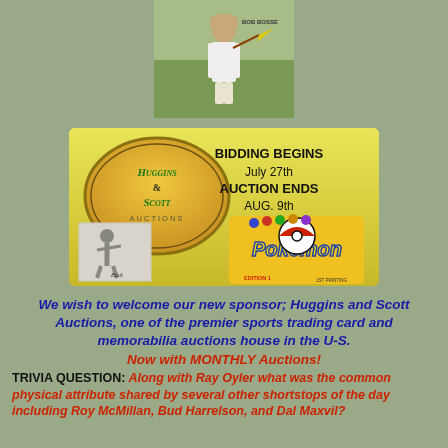[Figure (photo): Photo of a baseball player standing on a field, holding a pennant or bat, wearing a uniform]
[Figure (infographic): Huggins and Scott Auctions advertisement banner. Green/yellow background with the Huggins & Scott Auctions oval logo on the left, text 'BIDDING BEGINS July 27th AUCTION ENDS AUG. 9th' on the upper right, a black and white signed photo of a golfer on the lower left, and Pokemon trading card pack on the lower right.]
We wish to welcome our new sponsor; Huggins and Scott Auctions, one of the premier sports trading card and memorabilia auctions house in the U-S. Now with MONTHLY Auctions!
TRIVIA QUESTION: Along with Ray Oyler what was the common physical attribute shared by several other shortstops of the day including Roy McMillan, Bud Harrelson, and Dal Maxvil?